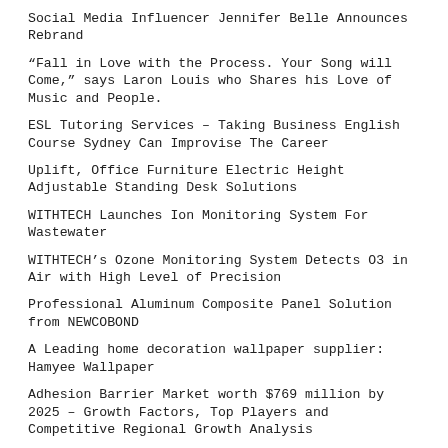Social Media Influencer Jennifer Belle Announces Rebrand
“Fall in Love with the Process. Your Song will Come,” says Laron Louis who Shares his Love of Music and People.
ESL Tutoring Services – Taking Business English Course Sydney Can Improvise The Career
Uplift, Office Furniture Electric Height Adjustable Standing Desk Solutions
WITHTECH Launches Ion Monitoring System For Wastewater
WITHTECH’s Ozone Monitoring System Detects O3 in Air with High Level of Precision
Professional Aluminum Composite Panel Solution from NEWCOBOND
A Leading home decoration wallpaper supplier: Hamyee Wallpaper
Adhesion Barrier Market worth $769 million by 2025 – Growth Factors, Top Players and Competitive Regional Growth Analysis